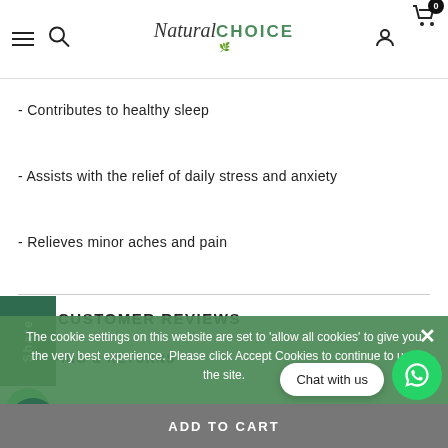Natural CHOICE — navigation bar with hamburger, search, user, cart icons
- Contributes to healthy sleep
- Assists with the relief of daily stress and anxiety
- Relieves minor aches and pain
CUSTOMER REVIEWS
SHIPPING & RETURNS
SUGGESTED PRODUCTS
The cookie settings on this website are set to 'allow all cookies' to give you the very best experience. Please click Accept Cookies to continue to use the site.
ACCEPT COOKIES
Chat with us
ADD TO CART